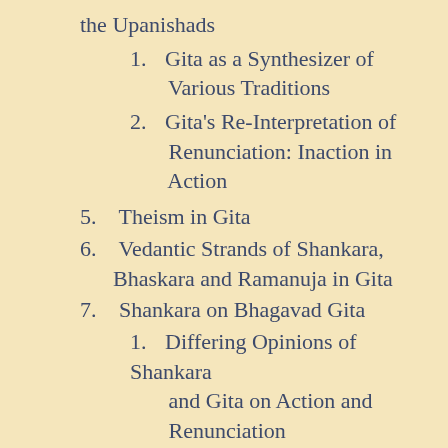the Upanishads
1. Gita as a Synthesizer of Various Traditions
2. Gita's Re-Interpretation of Renunciation: Inaction in Action
5. Theism in Gita
6. Vedantic Strands of Shankara, Bhaskara and Ramanuja in Gita
7. Shankara on Bhagavad Gita
1. Differing Opinions of Shankara and Gita on Action and Renunciation
8. Conclusion
9. No...